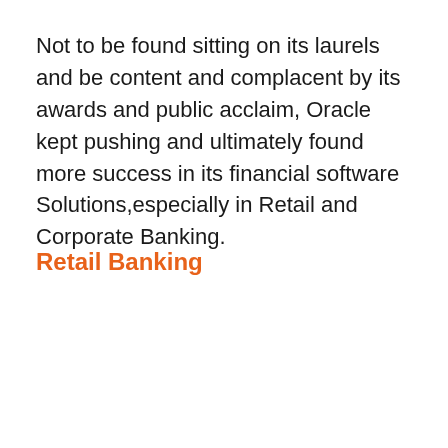Not to be found sitting on its laurels and be content and complacent by its awards and public acclaim, Oracle kept pushing and ultimately found more success in its financial software Solutions,especially in Retail and Corporate Banking.
Retail Banking